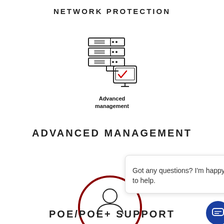NETWORK PROTECTION
[Figure (illustration): Icon showing stacked server/storage units connected to a monitor with a checkmark, labeled 'Advanced management']
Advanced management
ADVANCED MANAGEMENT
[Figure (screenshot): Chat popup overlay with close button and text 'Got any questions? I'm happy to help.' with DCN Group logo and a circular red decorative graphic behind it, plus a blue chat bubble button]
POE/POE+ SUPPORT